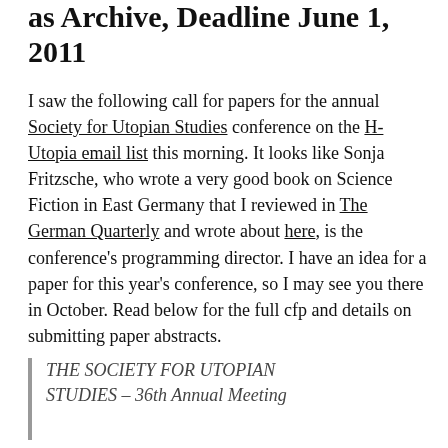as Archive, Deadline June 1, 2011
I saw the following call for papers for the annual Society for Utopian Studies conference on the H-Utopia email list this morning. It looks like Sonja Fritzsche, who wrote a very good book on Science Fiction in East Germany that I reviewed in The German Quarterly and wrote about here, is the conference's programming director. I have an idea for a paper for this year's conference, so I may see you there in October. Read below for the full cfp and details on submitting paper abstracts.
THE SOCIETY FOR UTOPIAN STUDIES – 36th Annual Meeting